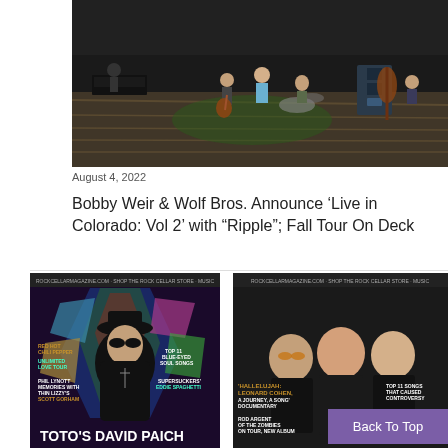[Figure (photo): Concert stage aerial view with musicians performing, instruments and equipment visible]
August 4, 2022
Bobby Weir & Wolf Bros. Announce ‘Live in Colorado: Vol 2’ with “Ripple”; Fall Tour On Deck
[Figure (photo): Rock Cellar Magazine cover featuring Toto's David Paich with stained glass background]
[Figure (photo): Rock Cellar Magazine cover featuring three men in black, topics include Hallelujah Leonard Cohen documentary, Rod Argent of The Zombies]
Back To Top